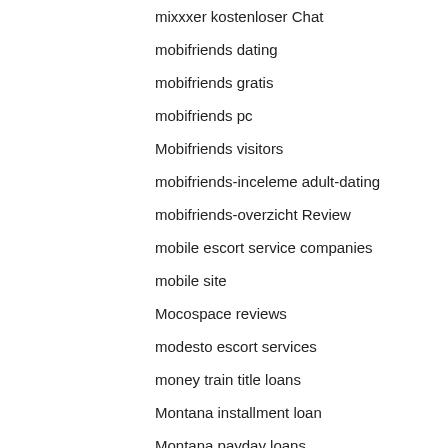mixxxer kostenloser Chat
mobifriends dating
mobifriends gratis
mobifriends pc
Mobifriends visitors
mobifriends-inceleme adult-dating
mobifriends-overzicht Review
mobile escort service companies
mobile site
Mocospace reviews
modesto escort services
money train title loans
Montana installment loan
Montana payday loans
montana-dating reviews
montgomery eros escort
moreno-valley what is an escort
motorcu-arkadaslik-siteleri profil